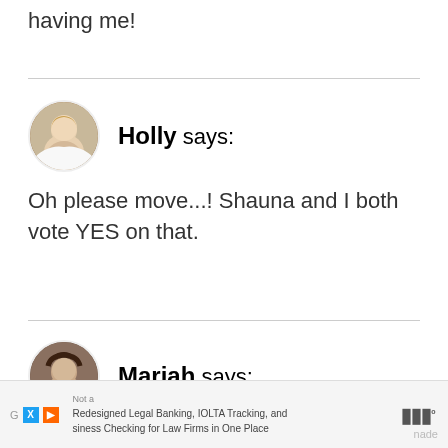having me!
Holly says:
Oh please move...! Shauna and I both vote YES on that.
Mariah says:
Not a
Redesigned Legal Banking, IOLTA Tracking, and
siness Checking for Law Firms in One Place